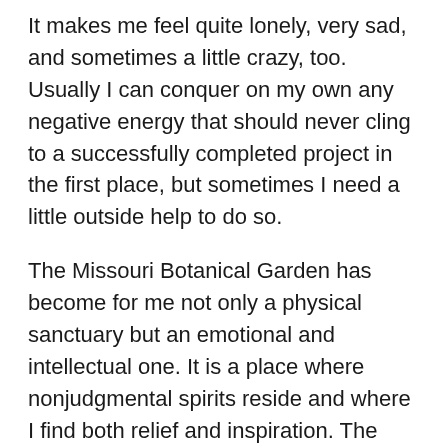It makes me feel quite lonely, very sad, and sometimes a little crazy, too. Usually I can conquer on my own any negative energy that should never cling to a successfully completed project in the first place, but sometimes I need a little outside help to do so.
The Missouri Botanical Garden has become for me not only a physical sanctuary but an emotional and intellectual one. It is a place where nonjudgmental spirits reside and where I find both relief and inspiration. The garden has become my happy refuge and a cherished friend. It grounds my restless spirit to the earth, provides solace to my broken heart, and refreshes my tired mind. It is where I go to be uplifted by the songs of birds and to be renewed by the wondrous, ever-changing colors and shadows of all of the seasons of nature. It is where I go to walk with my memories, my sorrows, my hopes, my worries, and my